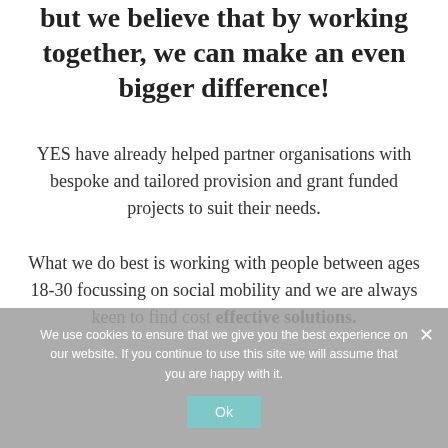but we believe that by working together, we can make an even bigger difference!
YES have already helped partner organisations with bespoke and tailored provision and grant funded projects to suit their needs.
What we do best is working with people between ages 18-30 focussing on social mobility and we are always keen to find cost effective solutions.
We use cookies to ensure that we give you the best experience on our website. If you continue to use this site we will assume that you are happy with it.